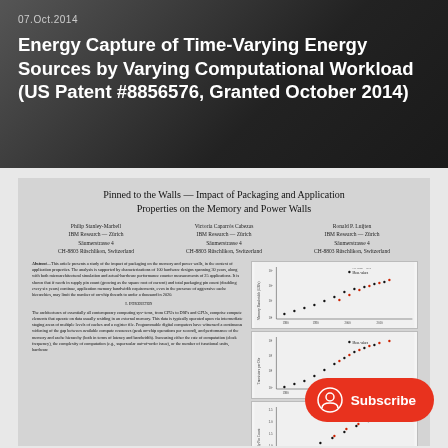07.Oct.2014
Energy Capture of Time-Varying Energy Sources by Varying Computational Workload (US Patent #8856576, Granted October 2014)
Pinned to the Walls — Impact of Packaging and Application Properties on the Memory and Power Walls
Philip Stanley-Marbell
IBM Research — Zürich
Säumerstrasse 4
CH-8803 Rüschlikon, Switzerland

Victoria Caparrós Cabezas
IBM Research — Zürich
Säumerstrasse 4
CH-8803 Rüschlikon, Switzerland

Ronald P. Luijten
IBM Research — Zürich
Säumerstrasse 4
CH-8803 Rüschlikon, Switzerland
Abstract—This article presents a study of the impact of packaging on the memory and power walls, in the context of application properties. The analysis is supported by characterizations of 100 hardware designs spanning 30 years, along with both microarchitectural simulation and actual-hardware performance counter measurements of 25 applications. It is shown that if needs in supply pin count (growing as the square root of current) and total packaging pin count (doubling every six years) continue, application memory bandwidth requirements, even in the presence of aggressive cache hierarchies, may limit the number of on-chip threads to under a thousand in 2020.
I. INTRODUCTION

The architectures of essentially all contemporary computing systems, from CPUs to DSPs and GPUs, comprise compute elements that operate on data usually residing in an external memory. This data is typically operated upon via intermediate staging areas of multiple levels of caches and a register file. Programmable digital computers have witnessed a continuous widening of the gap between available compute resources (peak on-chip operations per second), and performance of the memory and cache hierarchy (both in terms of latency and bandwidth). Increasing either the rate of computation (clock frequency), the complexity of computation (e.g., superscalar out-of-order issue), or the number of functional units, hardware...
[Figure (continuous-plot): Three stacked scatter/line plots showing hardware characterization data over time (1980-2015), with red and black data points showing trends for memory bandwidth, pin count, and another metric vs. year.]